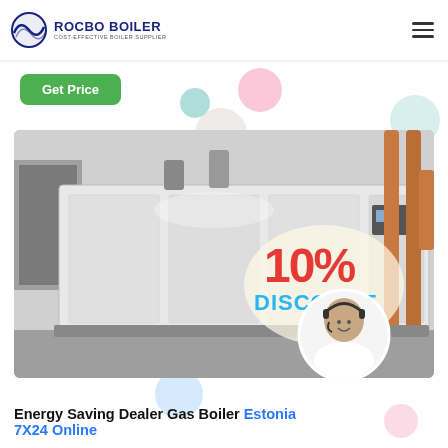ROCBO BOILER - COST-EFFECTIVE BOILER SUPPLIER
Get Price
[Figure (photo): Industrial gas boiler unit (large white cabinet) installed in a boiler room with copper pipes and brick walls. Overlay shows '10% DISCOUNT' promotional badge and a customer service representative with headset in a circular photo.]
Energy Saving Dealer Gas Boiler Estonia
7X24 Online